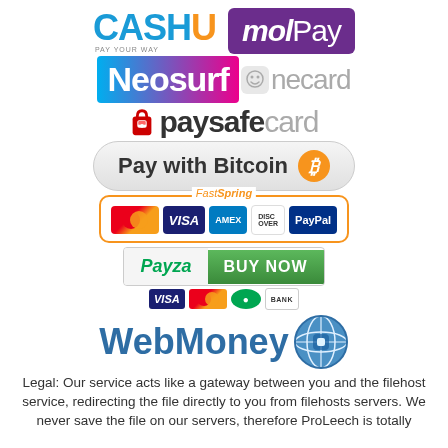[Figure (logo): CashU payment logo - blue text with orange U]
[Figure (logo): MOLPay payment logo - white text on purple background]
[Figure (logo): Neosurf payment logo - white text on gradient blue-pink background]
[Figure (logo): Onecard payment logo - smiley icon with grey text]
[Figure (logo): Paysafecard logo - red lock icon with bold/light text]
[Figure (logo): Pay with Bitcoin button - grey pill with orange circle B]
[Figure (logo): FastSpring payment logos - MC, VISA, AMEX, Discover, PayPal inside orange border]
[Figure (logo): Payza Buy Now button with card icons]
[Figure (logo): WebMoney logo - blue text with globe icon]
Legal: Our service acts like a gateway between you and the filehost service, redirecting the file directly to you from filehosts servers. We never save the file on our servers, therefore ProLeech is totally